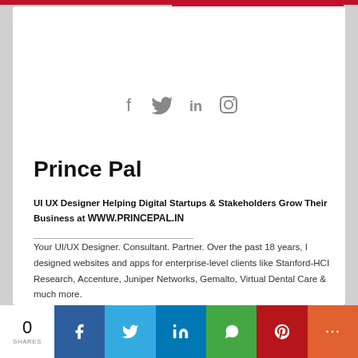[Figure (other): Social media icons: Facebook, Twitter, LinkedIn, Instagram in gray]
Prince Pal
UI UX Designer Helping Digital Startups & Stakeholders Grow Their Business at WWW.PRINCEPAL.IN
Your UI/UX Designer. Consultant. Partner. Over the past 18 years, I designed websites and apps for enterprise-level clients like Stanford-HCI Research, Accenture, Juniper Networks, Gemalto, Virtual Dental Care & much more.
0 SHARES | Facebook | Twitter | LinkedIn | WhatsApp | Pinterest | More